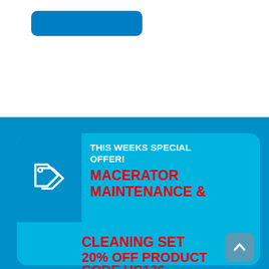[Figure (illustration): Blue rounded rectangle button at the top left on a white background]
[Figure (infographic): Promotional banner card with blue background, tag icon on the left, and text on the right reading 'THIS WEEKS SPECIAL OFFER! MACERATOR MAINTENANCE & CLEANING SET 20% OFF PRODUCT CODE UC136']
THIS WEEKS SPECIAL OFFER!
MACERATOR MAINTENANCE & CLEANING SET
20% OFF PRODUCT CODE UC136